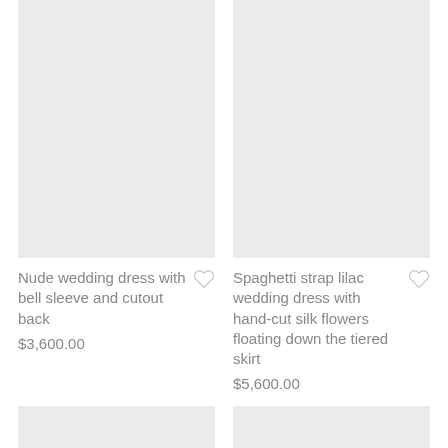[Figure (photo): Product image placeholder - light gray rectangle for nude wedding dress with bell sleeve]
[Figure (photo): Product image placeholder - light gray rectangle for spaghetti strap lilac wedding dress]
Nude wedding dress with bell sleeve and cutout back
$3,600.00
Spaghetti strap lilac wedding dress with hand-cut silk flowers floating down the tiered skirt
$5,600.00
[Figure (photo): Product image placeholder - light gray rectangle, bottom partial view]
[Figure (photo): Product image placeholder - light gray rectangle, bottom partial view]